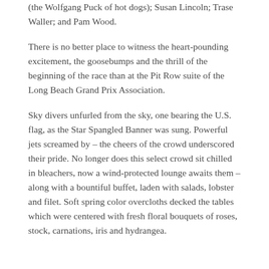(the Wolfgang Puck of hot dogs); Susan Lincoln; Trase Waller; and Pam Wood.
There is no better place to witness the heart-pounding excitement, the goosebumps and the thrill of the beginning of the race than at the Pit Row suite of the Long Beach Grand Prix Association.
Sky divers unfurled from the sky, one bearing the U.S. flag, as the Star Spangled Banner was sung. Powerful jets screamed by – the cheers of the crowd underscored their pride. No longer does this select crowd sit chilled in bleachers, now a wind-protected lounge awaits them – along with a bountiful buffet, laden with salads, lobster and filet. Soft spring color overcloths decked the tables which were centered with fresh floral bouquets of roses, stock, carnations, iris and hydrangea.